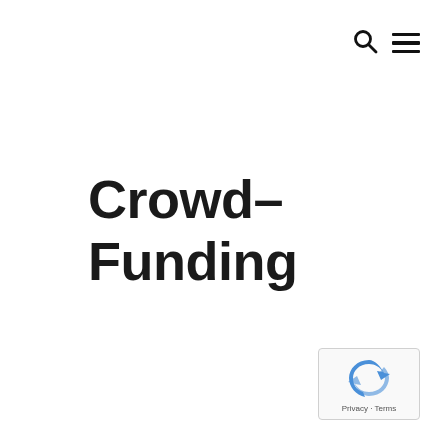search and menu icons
Crowd-Funding
[Figure (logo): reCAPTCHA privacy badge with rotating arrow logo and 'Privacy - Terms' text]